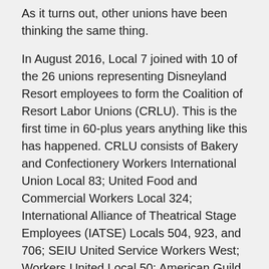As it turns out, other unions have been thinking the same thing.
In August 2016, Local 7 joined with 10 of the 26 unions representing Disneyland Resort employees to form the Coalition of Resort Labor Unions (CRLU). This is the first time in 60-plus years anything like this has happened. CRLU consists of Bakery and Confectionery Workers International Union Local 83; United Food and Commercial Workers Local 324; International Alliance of Theatrical Stage Employees (IATSE) Locals 504, 923, and 706; SEIU United Service Workers West; Workers United Local 50; American Guild of Variety Artists; Independent Employee Services Association; UNITE HERE! Local 11; and AFM Local 7. Orange County Communities Organized for Responsible Development (OCCORD) and Clergy & Laity for Economic Justice (CLUE) have allied themselves with CRLU.